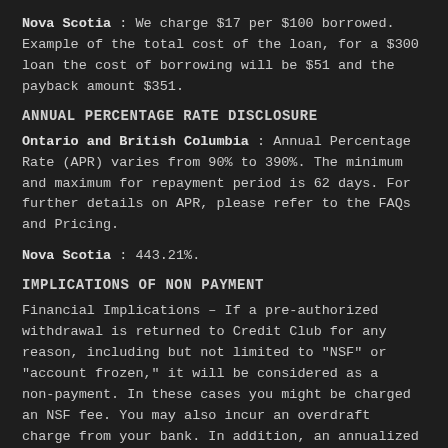Nova Scotia : We charge $17 per $100 borrowed. Example of the total cost of the loan, for a $300 loan the cost of borrowing will be $51 and the payback amount $351.
ANNUAL PERCENTAGE RATE DISCLOSURE
Ontario and British Columbia : Annual Percentage Rate (APR) varies from 90% to 390%. The minimum and maximum for repayment period is 62 days. For further details on APR, please refer to the FAQs and Pricing.
Nova Scotia : 443.21%.
IMPLICATIONS OF NON PAYMENT
Financial Implications – If a pre-authorized withdrawal is returned to Credit Club for any reason, including but not limited to "NSF" or "account frozen," it will be considered as a non-payment. In these cases you might be charged an NSF fee. You may also incur an overdraft charge from your bank. In addition, an annualized interest rate of 30% will accrue from the loan repayment date up to and including the eventual repayment date.